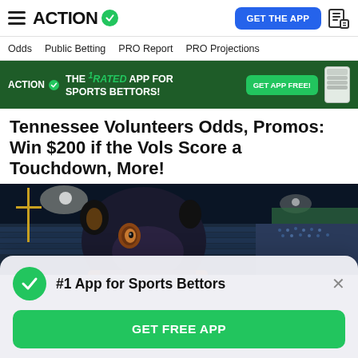ACTION #1 App for Sports Bettors | GET THE APP
Odds   Public Betting   PRO Report   PRO Projections
[Figure (screenshot): Green advertisement banner: ACTION logo with checkmark, text 'THE #1 RATED APP FOR SPORTS BETTORS!', GET APP FREE! button, phone screenshot]
Tennessee Volunteers Odds, Promos: Win $200 if the Vols Score a Touchdown, More!
[Figure (photo): Dark photo of a football mascot (animal in costume) at a stadium at night with stadium lights and crowd in background]
#1 App for Sports Bettors
GET FREE APP